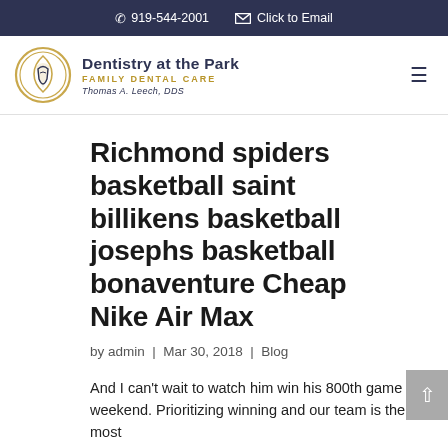☎ 919-544-2001   ✉ Click to Email
[Figure (logo): Dentistry at the Park - Family Dental Care logo with circular gold leaf emblem, Thomas A. Leech, DDS]
Richmond spiders basketball saint billikens basketball josephs basketball bonaventure Cheap Nike Air Max
by admin | Mar 30, 2018 | Blog
And I can't wait to watch him win his 800th game this weekend. Prioritizing winning and our team is the most